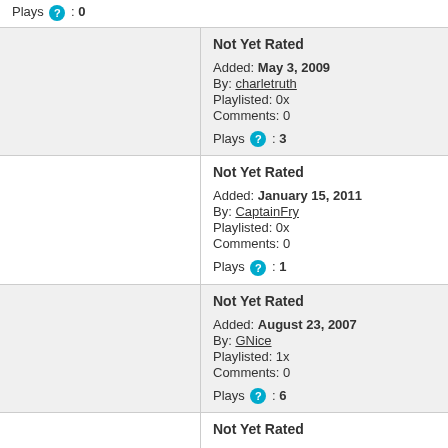Plays : 0
Not Yet Rated
Added: May 3, 2009
By: charletruth
Playlisted: 0x
Comments: 0
Plays : 3
Not Yet Rated
Added: January 15, 2011
By: CaptainFry
Playlisted: 0x
Comments: 0
Plays : 1
Not Yet Rated
Added: August 23, 2007
By: GNice
Playlisted: 1x
Comments: 0
Plays : 6
Not Yet Rated
Added: May 3, 2009
By: charletruth
Playlisted: 0x
Comments: 0
Plays : 6